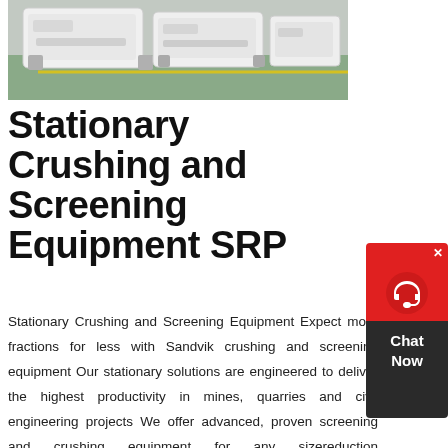[Figure (photo): Industrial white crushing/screening equipment units in a warehouse or factory setting with green floor and yellow line markings]
Stationary Crushing and Screening Equipment SRP
Stationary Crushing and Screening Equipment Expect more fractions for less with Sandvik crushing and screening equipment Our stationary solutions are engineered to deliver the highest productivity in mines, quarries and civil engineering projects We offer advanced, proven screening and crushing equipment for any sizereduction challengeMining Equipment For Sale Pre Owned or Surplus Mining, Processing and Crushing Equipment For Sale Skip to content Minegraveyard 0400 280 315 Facebookf Register / Login Products search Menu Home;
[Figure (other): Chat Now widget button with headset icon — red background with white icon, dark bottom section labeled Chat Now, with X close button]